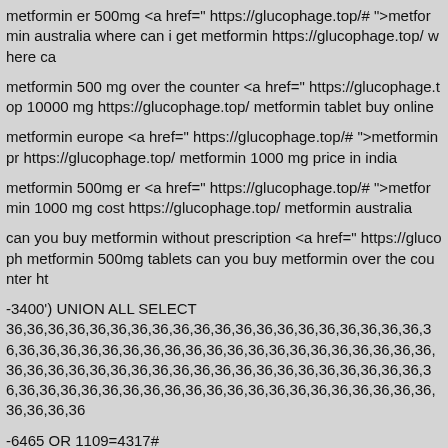metformin er 500mg <a href=" https://glucophage.top/# ">metformin australia where can i get metformin https://glucophage.top/ where ca
metformin 500 mg over the counter <a href=" https://glucophage.top 10000 mg https://glucophage.top/ metformin tablet buy online
metformin europe <a href=" https://glucophage.top/# ">metformin pr https://glucophage.top/ metformin 1000 mg price in india
metformin 500mg er <a href=" https://glucophage.top/# ">metformin 1000 mg cost https://glucophage.top/ metformin australia
can you buy metformin without prescription <a href=" https://glucoph metformin 500mg tablets can you buy metformin over the counter ht
-3400') UNION ALL SELECT 36,36,36,36,36,36,36,36,36,36,36,36,36,36,36,36,36,36,36,36,36,36,36,36,36,36,36,36,36,36,36,36,36,36,36,36,36,36,36,36,36,36,36,36,36,36,36,36,36,36,36,36,36,36,36,36,36,36,36,36,36,36,36,36,36,36,36,36,36,36,36,36,36,36,36,36,36,36,36,36,36,36,36,36,36,36
-6465 OR 1109=4317#
metformin hcl 500mg <a href=" https://glucophage.top/# ">metformin metformin without prescription https://glucophage.top/ how can i get
metformin tablet buy online <a href=" https://glucophage.top/# ">150 mg https://glucophage.top/ price of metformin
-5844)) AS goLH WHERE 5052=5052 OR 3231=1896#